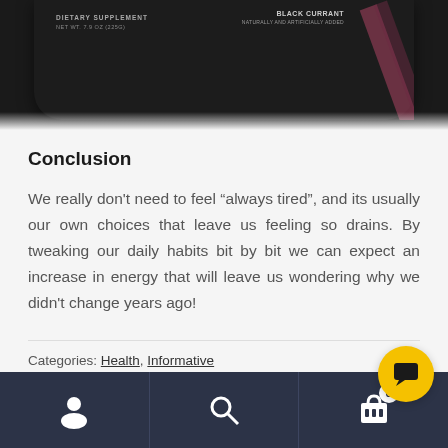[Figure (photo): Bottom portion of a dark supplement jar/container with text 'DIETARY SUPPLEMENT NET WT. 7.9 OZ (225G)' on the left and 'BLACK CURRANT NATURALLY AND ARTIFICIALLY ADDED' on the right, with pink diagonal stripes on the right side]
Conclusion
We really don't need to feel “always tired”, and its usually our own choices that leave us feeling so drains. By tweaking our daily habits bit by bit we can expect an increase in energy that will leave us wondering why we didn't change years ago!
Categories: Health, Informative